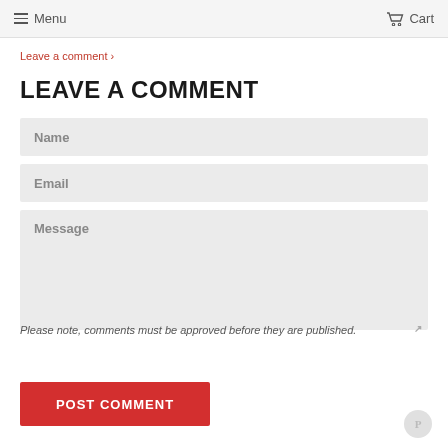Menu  Cart
Leave a comment ›
LEAVE A COMMENT
Name
Email
Message
Please note, comments must be approved before they are published.
POST COMMENT